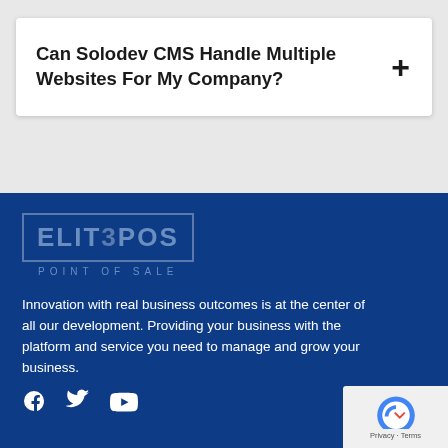Can Solodev CMS Handle Multiple Websites For My Company?
[Figure (logo): ElitePos Point of Sale logo — blocky text inside a rectangular border, subtitle 'POINT OF SALE' below]
Innovation with real business outcomes is at the center of all our development. Providing your business with the platform and service you need to manage and grow your business.
[Figure (other): Social media icons: Facebook, Twitter, YouTube]
[Figure (other): reCAPTCHA badge with logo and 'Privacy · Terms' text]